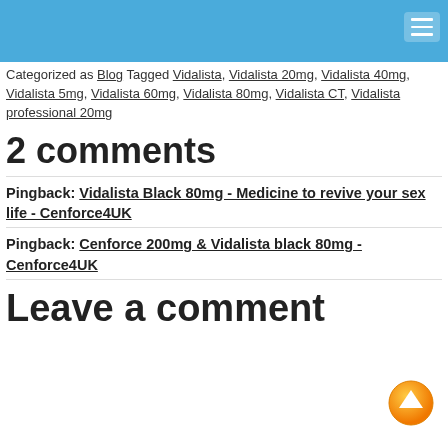Navigation menu header bar
Categorized as Blog Tagged Vidalista, Vidalista 20mg, Vidalista 40mg, Vidalista 5mg, Vidalista 60mg, Vidalista 80mg, Vidalista CT, Vidalista professional 20mg
2 comments
Pingback: Vidalista Black 80mg - Medicine to revive your sex life - Cenforce4UK
Pingback: Cenforce 200mg & Vidalista black 80mg - Cenforce4UK
Leave a comment